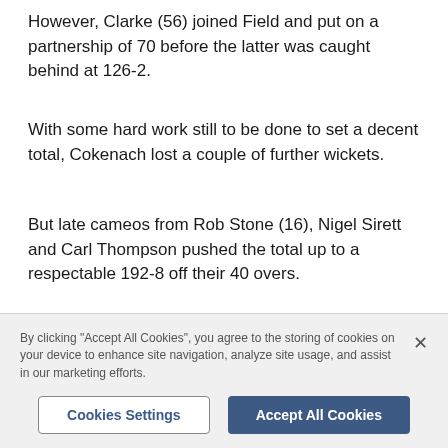However, Clarke (56) joined Field and put on a partnership of 70 before the latter was caught behind at 126-2.
With some hard work still to be done to set a decent total, Cokenach lost a couple of further wickets.
But late cameos from Rob Stone (16), Nigel Sirett and Carl Thompson pushed the total up to a respectable 192-8 off their 40 overs.
With the heat still very strong, Thurlow began their
By clicking "Accept All Cookies", you agree to the storing of cookies on your device to enhance site navigation, analyze site usage, and assist in our marketing efforts.